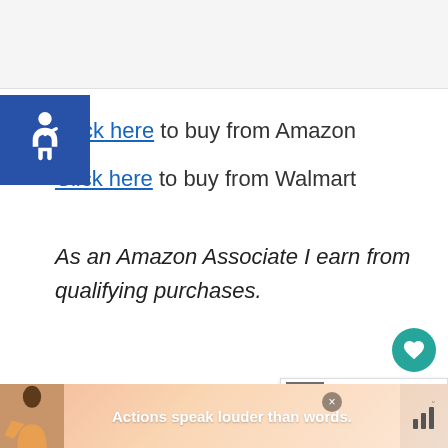[Figure (other): Blue accessibility icon with wheelchair symbol]
Click here to buy from Amazon
Click here to buy from Walmart
As an Amazon Associate I earn from qualifying purchases.
Amazon prices are subject to change at any time. We cannot guarantee that this price will be the same price when you attempt to order
[Figure (other): What's Next promotional panel showing Sliding Cabinet Loc...]
[Figure (other): Ad banner: Actions speak louder than words.]